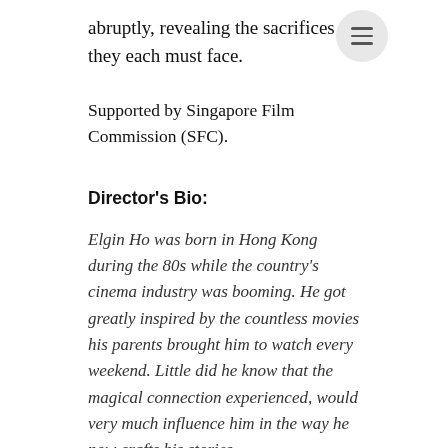abruptly, revealing the sacrifices they each must face.
Supported by Singapore Film Commission (SFC).
Director's Bio:
Elgin Ho was born in Hong Kong during the 80s while the country's cinema industry was booming. He got greatly inspired by the countless movies his parents brought him to watch every weekend. Little did he know that the magical connection experienced, would very much influence him in the way he now crafts his stories.
Elgin's family relocated to Singapore in 1990. He has since become a Singapore citizen. His